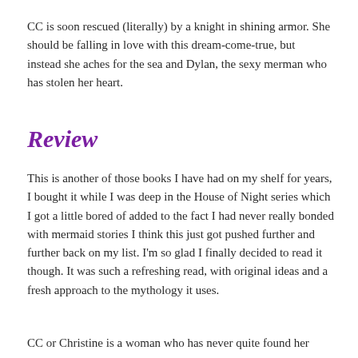CC is soon rescued (literally) by a knight in shining armor. She should be falling in love with this dream-come-true, but instead she aches for the sea and Dylan, the sexy merman who has stolen her heart.
Review
This is another of those books I have had on my shelf for years, I bought it while I was deep in the House of Night series which I got a little bored of added to the fact I had never really bonded with mermaid stories I think this just got pushed further and further back on my list. I'm so glad I finally decided to read it though. It was such a refreshing read, with original ideas and a fresh approach to the mythology it uses.
CC or Christine is a woman who has never quite found her